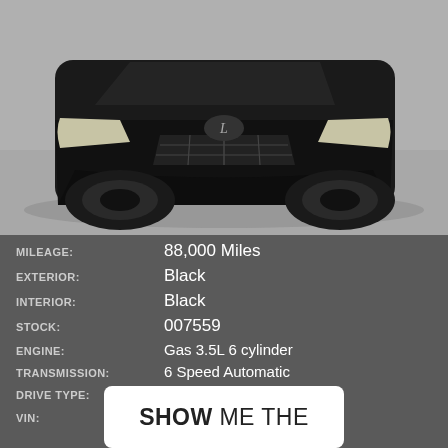[Figure (photo): Front view of a black Lexus sedan parked on a gray surface, showing the front grille, headlights, and front bumper prominently against a light background.]
MILEAGE: 88,000 Miles
EXTERIOR: Black
INTERIOR: Black
STOCK: 007559
ENGINE: Gas 3.5L 6 cylinder
TRANSMISSION: 6 Speed Automatic
DRIVE TYPE: All Wheel Drive
VIN: JTHCE1D26F5007559
SHOW ME THE